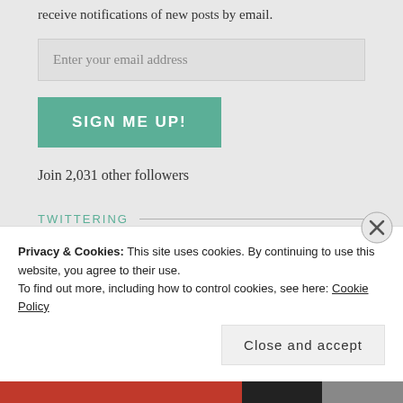receive notifications of new posts by email.
Enter your email address
SIGN ME UP!
Join 2,031 other followers
TWITTERING
It's a pleasure to announce that the RPS MENA team is growing. Welcoming Naz Sağlam to the team as our
Privacy & Cookies: This site uses cookies. By continuing to use this website, you agree to their use.
To find out more, including how to control cookies, see here: Cookie Policy
Close and accept